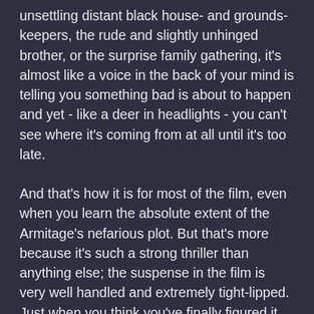unsettling distant black house- and grounds-keepers, the rude and slightly unhinged brother, or the surprise family gathering, it's almost like a voice in the back of your mind is telling you something bad is about to happen and yet - like a deer in headlights - you can't see where it's coming from at all until it's too late.
And that's how it is for most of the film, even when you learn the absolute extent of the Armitage's nefarious plot. But that's more because it's such a strong thriller than anything else; the suspense in the film is very well handled and extremely tight-lipped. Just when you think you've finally figured it all out, the movie springs yet another twist to masterfully wrest back your feeling of fear. And what's more impressive, in my opinion, is that they're not twists for the sake of twisting either; clues are scattered all over the movie, but for some reason, you just don't put them together until it's too late. For instance, one of the biggest reveals in the film